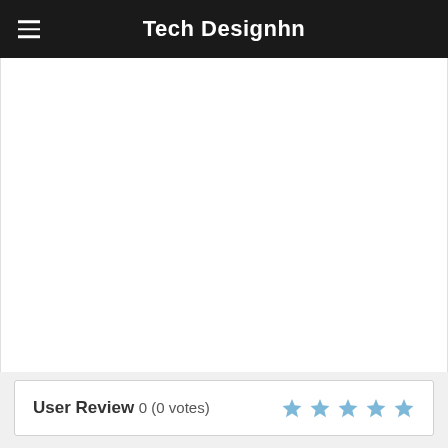Tech Designhn
[Figure (other): Large white content area, blank/empty advertisement or media placeholder]
User Review 0 (0 votes) ★★★★★
Back to top button